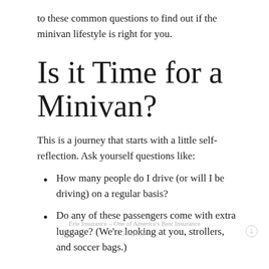to these common questions to find out if the minivan lifestyle is right for you.
Is it Time for a Minivan?
This is a journey that starts with a little self-reflection. Ask yourself questions like:
How many people do I drive (or will I be driving) on a regular basis?
Do any of these passengers come with extra luggage? (We're looking at you, strollers, and soccer bags.)
Erie Insurance – One of America's Best Insurance Companies